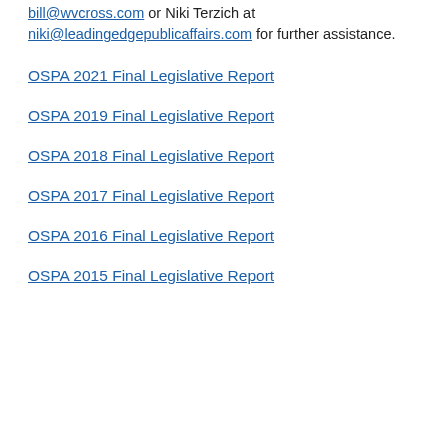bill@wvcross.com or Niki Terzich at niki@leadingedgepublicaffairs.com for further assistance.
OSPA 2021 Final Legislative Report
OSPA 2019 Final Legislative Report
OSPA 2018 Final Legislative Report
OSPA 2017 Final Legislative Report
OSPA 2016 Final Legislative Report
OSPA 2015 Final Legislative Report